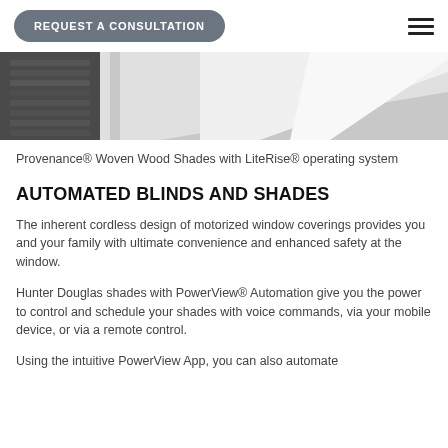REQUEST A CONSULTATION
[Figure (photo): Close-up photo of woven wood shades on a window, showing textured material in dark gray tones with a light wall in the background]
Provenance® Woven Wood Shades with LiteRise® operating system
AUTOMATED BLINDS AND SHADES
The inherent cordless design of motorized window coverings provides you and your family with ultimate convenience and enhanced safety at the window.
Hunter Douglas shades with PowerView® Automation give you the power to control and schedule your shades with voice commands, via your mobile device, or via a remote control.
Using the intuitive PowerView App, you can also automate